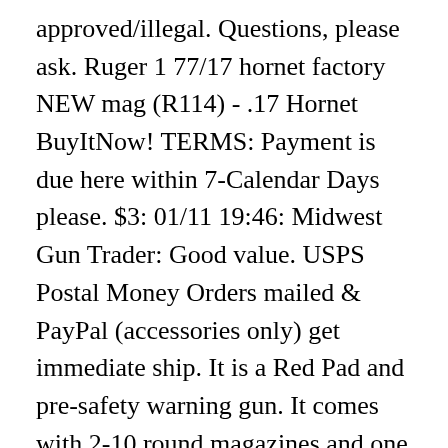approved/illegal. Questions, please ask. Ruger 1 77/17 hornet factory NEW mag (R114) - .17 Hornet BuyItNow! TERMS: Payment is due here within 7-Calendar Days please. $3: 01/11 19:46: Midwest Gun Trader: Good value. USPS Postal Money Orders mailed & PayPal (accessories only) get immediate ship. It is a Red Pad and pre-safety warning gun. It comes with 2-10 round magazines and one magazine that I believe to be a 32 rounder, since I loaded it, Ruger M77 300 Win Mag. This rifle comes in the original factory box with the rings, sling, 23" BARREL QUARTER RIB WITH 1 STANDING 2 FOLDING FACTORY RECOIL PAD GREAT CONDITION WITH SOME LIGHT HANDLING MARKS 9LBS 11 OZ 13 1/2" LOD 23" BARREL